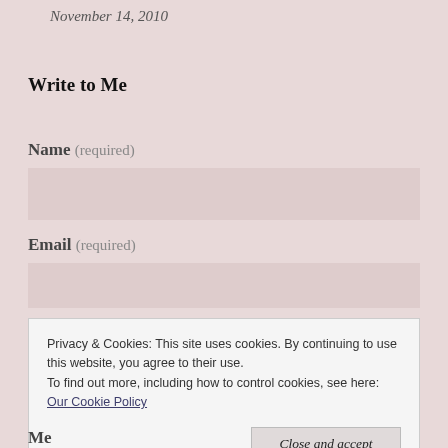November 14, 2010
Write to Me
Name (required)
Email (required)
Privacy & Cookies: This site uses cookies. By continuing to use this website, you agree to their use.
To find out more, including how to control cookies, see here: Our Cookie Policy
Close and accept
Message